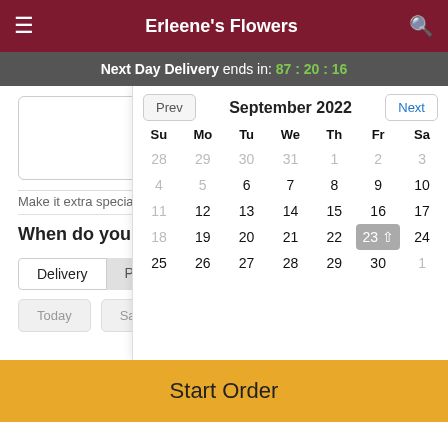Erleene's Flowers
Next Day Delivery ends in: 87:20:16
Premium
$97.95
Make it extra special with
When do you need it?
Delivery | Pick Up
Today | Sa
[Figure (screenshot): September 2022 calendar popup with Prev/Next navigation buttons. Calendar shows dates 28-30 (greyed, previous month), then September 1-30. Days 11 and 18 greyed (past), 23 highlighted with grey background and up arrow. Day columns: Su Mo Tu We Th Fr Sa.]
Start Order